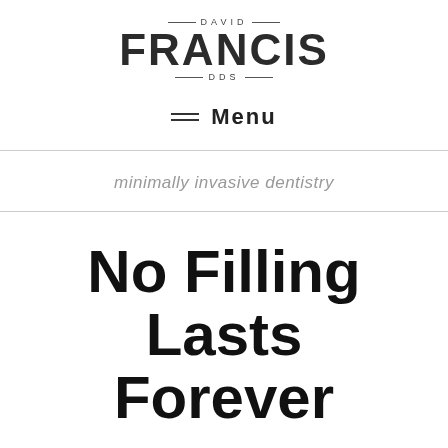[Figure (logo): David Francis DDS logo with decorative lines above and below name]
≡  Menu
minimally invasive dentistry
No Filling Lasts Forever